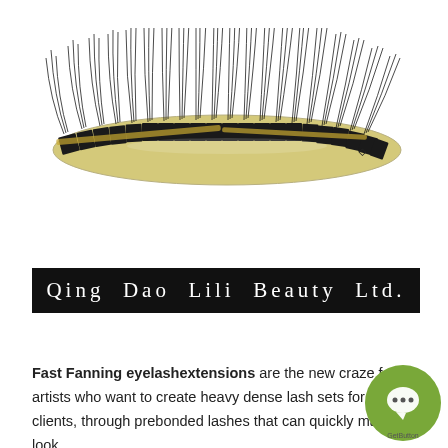[Figure (photo): A strip of fast fanning eyelash extensions on a curved yellow/cream tray with black segmented base, showing multiple clusters of black lashes fanned out upward.]
Qing  Dao  Lili  Beauty  Ltd.
Fast Fanning eyelashextensions are the new craze for artists who want to create heavy dense lash sets for their clients, through prebonded lashes that can quickly make a look